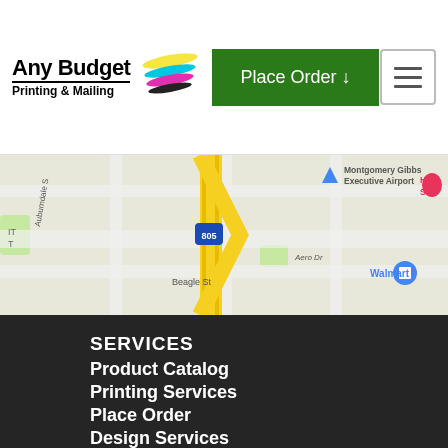Any Budget Printing & Mailing | Place Order ↓
[Figure (map): Google Maps screenshot showing area near Montgomery Gibbs Executive Airport, with Beagle St, Auburndale, I-805, Aero Dr, and a Walmart marker visible.]
SERVICES
Product Catalog
Printing Services
Place Order
Design Services
Mailing Services